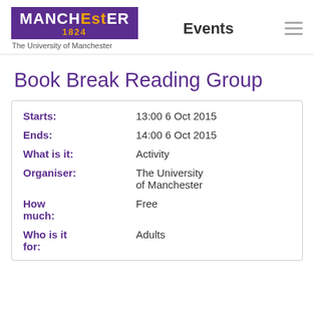[Figure (logo): The University of Manchester logo — purple rectangle with white MANCHESTER text (EST in gold), 1824 in gold below, subtitle 'The University of Manchester' in grey below the box]
Events
Book Break Reading Group
| Starts: | 13:00 6 Oct 2015 |
| Ends: | 14:00 6 Oct 2015 |
| What is it: | Activity |
| Organiser: | The University of Manchester |
| How much: | Free |
| Who is it for: | Adults |